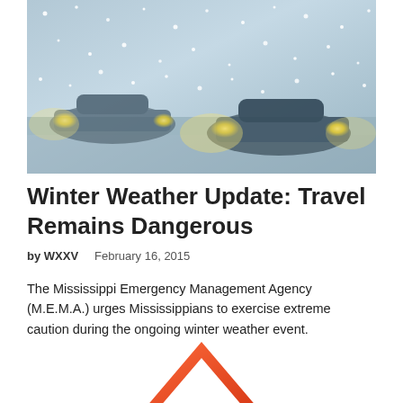[Figure (photo): Cars driving in heavy snowstorm with headlights on, poor visibility conditions]
Winter Weather Update: Travel Remains Dangerous
by WXXV    February 16, 2015
The Mississippi Emergency Management Agency (M.E.M.A.) urges Mississippians to exercise extreme caution during the ongoing winter weather event.
[Figure (illustration): Orange and red warning triangle / caution symbol, partially visible at bottom of page]